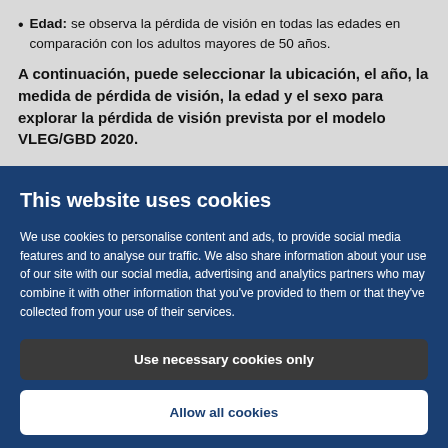Edad: se observa la pérdida de visión en todas las edades en comparación con los adultos mayores de 50 años.
A continuación, puede seleccionar la ubicación, el año, la medida de pérdida de visión, la edad y el sexo para explorar la pérdida de visión prevista por el modelo VLEG/GBD 2020.
This website uses cookies
We use cookies to personalise content and ads, to provide social media features and to analyse our traffic. We also share information about your use of our site with our social media, advertising and analytics partners who may combine it with other information that you've provided to them or that they've collected from your use of their services.
Use necessary cookies only
Allow all cookies